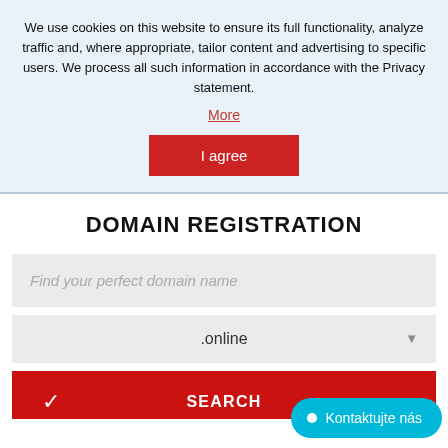We use cookies on this website to ensure its full functionality, analyze traffic and, where appropriate, tailor content and advertising to specific users. We process all such information in accordance with the Privacy statement.
More
I agree
DOMAIN REGISTRATION
Find your perfect domain name
.online
SEARCH
Kontaktujte nás